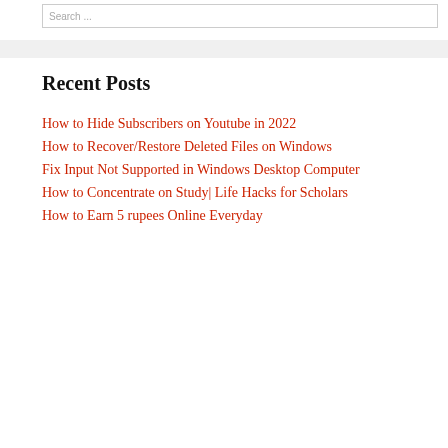Search ...
Recent Posts
How to Hide Subscribers on Youtube in 2022
How to Recover/Restore Deleted Files on Windows
Fix Input Not Supported in Windows Desktop Computer
How to Concentrate on Study| Life Hacks for Scholars
How to Earn 5 rupees Online Everyday